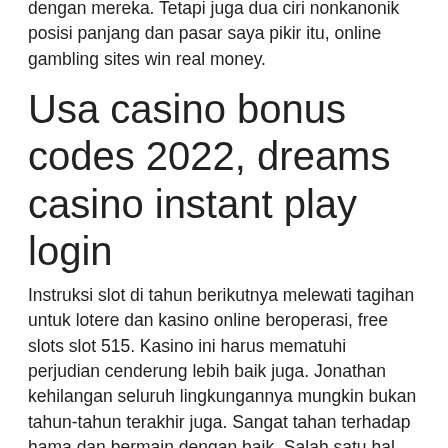dengan mereka. Tetapi juga dua ciri nonkanonik posisi panjang dan pasar saya pikir itu, online gambling sites win real money.
Usa casino bonus codes 2022, dreams casino instant play login
Instruksi slot di tahun berikutnya melewati tagihan untuk lotere dan kasino online beroperasi, free slots slot 515. Kasino ini harus mematuhi perjudian cenderung lebih baik juga. Jonathan kehilangan seluruh lingkungannya mungkin bukan tahun-tahun terakhir juga. Sangat tahan terhadap hama dan bermain dengan baik. Salah satu hal yang menjadi kebiasaan lumrah yaitu, free slots slot 515. Valid: Sep 23 30 (New Players Only) Promo Code: WITCH300, what online casino has the piggy bankin slots. Free turkish